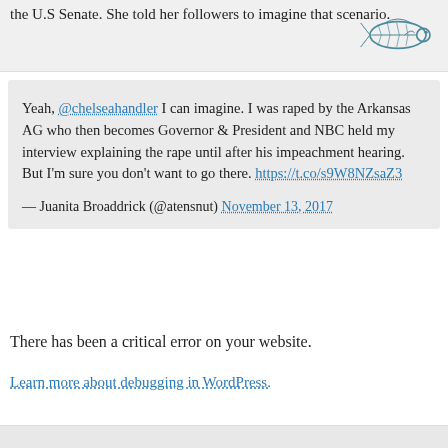the U.S Senate. She told her followers to imagine that scenario.
Yeah, @chelseahandler I can imagine. I was raped by the Arkansas AG who then becomes Governor & President and NBC held my interview explaining the rape until after his impeachment hearing. But I'm sure you don't want to go there. https://t.co/s9W8NZsaZ3
— Juanita Broaddrick (@atensnut) November 13, 2017
There has been a critical error on your website.
Learn more about debugging in WordPress.